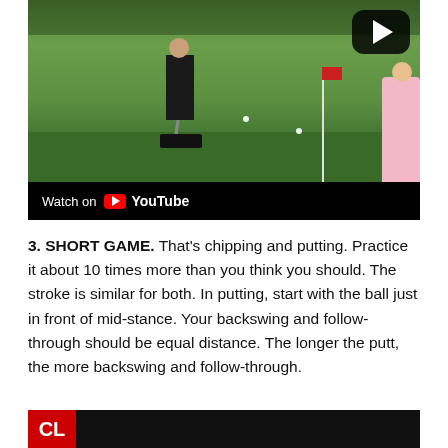[Figure (screenshot): YouTube video thumbnail showing a golfer on a putting green with a flag pole, two golf balls visible on the green, a pink-clad figure on the right edge. A YouTube play button is in the top-right corner. Bottom bar reads 'Watch on YouTube'.]
3. SHORT GAME. That’s chipping and putting. Practice it about 10 times more than you think you should. The stroke is similar for both. In putting, start with the ball just in front of mid-stance. Your backswing and follow-through should be equal distance. The longer the putt, the more backswing and follow-through.
[Figure (screenshot): Bottom strip of another video showing a red logo with white letters 'CL' on a dark background.]